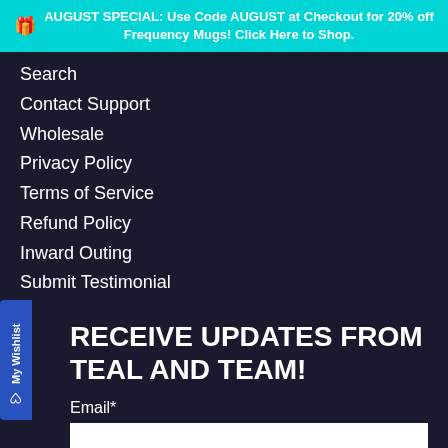AUGUST SPECIAL: Use Code AUGUST at Checkout for 20% off Frequency Mugs! Click Here to Shop.
Search
Contact Support
Wholesale
Privacy Policy
Terms of Service
Refund Policy
Inward Outing
Submit Testimonial
My Wishlist
RECEIVE UPDATES FROM TEAL AND TEAM!
Email*
Sign Up